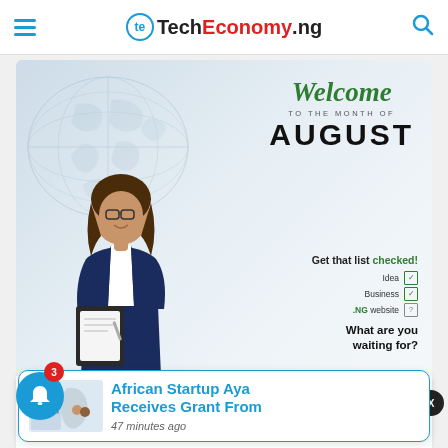TechEconomy.ng
[Figure (illustration): Welcome to the Month of August promotional banner with woman holding clipboard, checklist items (Idea, Business, .NG website), and .ng domain registration advertisement]
African Startup Aya Receives Grant From
47 minutes ago